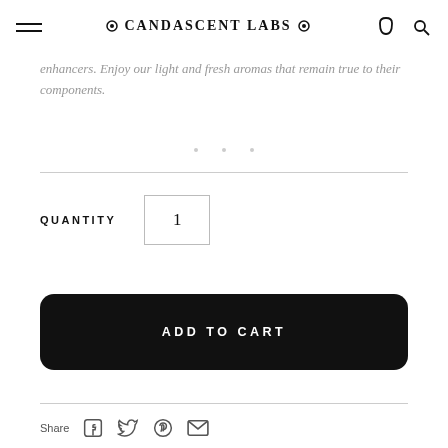CandaScent Labs
enhancers. Enjoy our light and fresh aromas that remain true to their components.
QUANTITY  1
ADD TO CART
Share